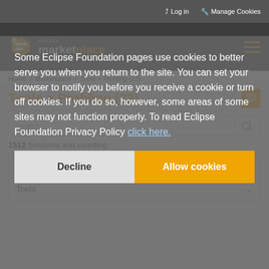Log in  Manage Cookies
[Figure (logo): Eclipse Marketplace logo with orange/white icon and text]
Home / Marketplace / Tools > Profiling (22)
Tools > Profiling (22)
Search
1512 Solutions and counting.
Profiling
Tools
Some Eclipse Foundation pages use cookies to better serve you when you return to the site. You can set your browser to notify you before you receive a cookie or turn off cookies. If you do so, however, some areas of some sites may not function properly. To read Eclipse Foundation Privacy Policy click here.
Decline
Allow cookies